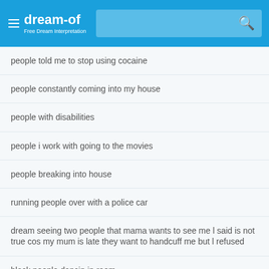dream-of | Free Dream Interpretation
people told me to stop using cocaine
people constantly coming into my house
people with disabilities
people i work with going to the movies
people breaking into house
running people over with a police car
dream seeing two people that mama wants to see me l said is not true cos my mum is late they want to handcuff me but l refused
black people dancin in room
people wearing black blurk
eyes changing from blue to yellow and att king people
what do dreams of people with no faces mean